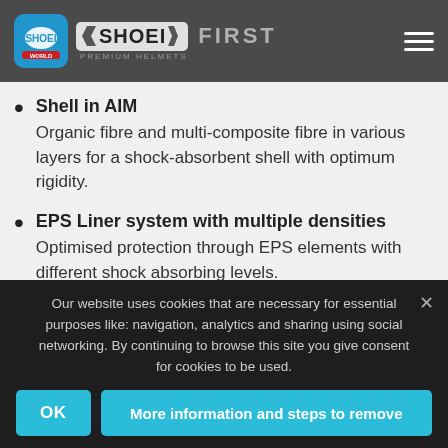SHOEI PREMIUM HELMETS — SAFETY FIRST
Shell in AIM — Organic fibre and multi-composite fibre in various layers for a shock-absorbent shell with optimum rigidity.
EPS Liner system with multiple densities — Optimised protection through EPS elements with different shock absorbing levels.
CPB-1 Visor — Clear vision in many conditions. 3 position adjustment
Our website uses cookies that are necessary for essential purposes like: navigation, analytics and sharing using social networking. By continuing to browse this site you give consent for cookies to be used.